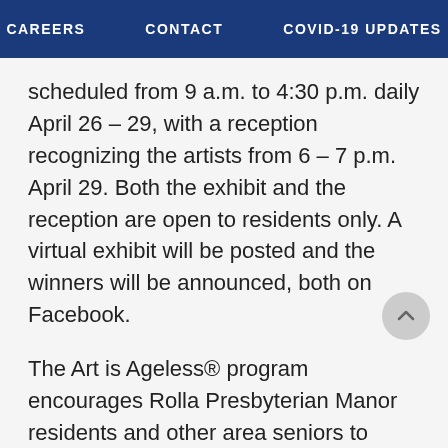CAREERS   CONTACT   COVID-19 UPDATES
scheduled from 9 a.m. to 4:30 p.m. daily April 26 – 29, with a reception recognizing the artists from 6 – 7 p.m. April 29. Both the exhibit and the reception are open to residents only. A virtual exhibit will be posted and the winners will be announced, both on Facebook.
The Art is Ageless® program encourages Rolla Presbyterian Manor residents and other area seniors to express their creativity through its annual competition, as well as art classes, musical and dramatic events, educational opportunities and current events discussions throughout the year.
Local competition winners will join winners from 14 other PMMA (Presbyterian Manors of Mid-America)